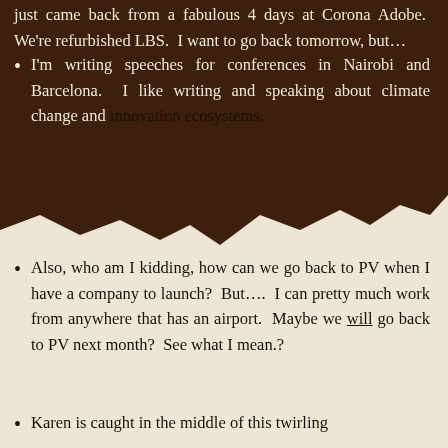just came back from a fabulous 4 days at Corona Adobe.  We're refurbished LBS.  I want to go back tomorrow, but…
I'm writing speeches for conferences in Nairobi and Barcelona.  I like writing and speaking about climate change and innovation ecosystems.
Also, who am I kidding, how can we go back to PV when I have a company to launch?  But….  I can pretty much work from anywhere that has an airport.  Maybe we will go back to PV next month?  See what I mean.?
Karen is caught in the middle of this twirling